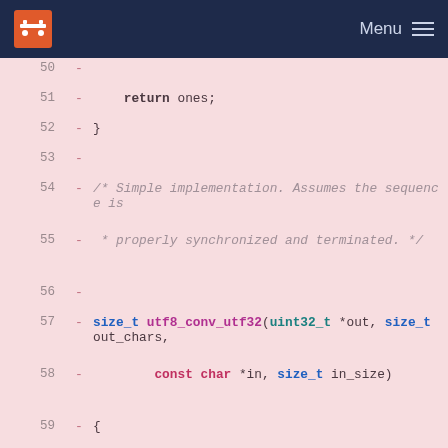Menu
[Figure (screenshot): Code diff view showing lines 50-65 of a C file implementing utf8_conv_utf32 function, shown as removed lines (red background, dash prefix). Lines include return statement, closing brace, comment block, function signature with uint32_t and size_t parameters, and local variable declarations with while loop.]